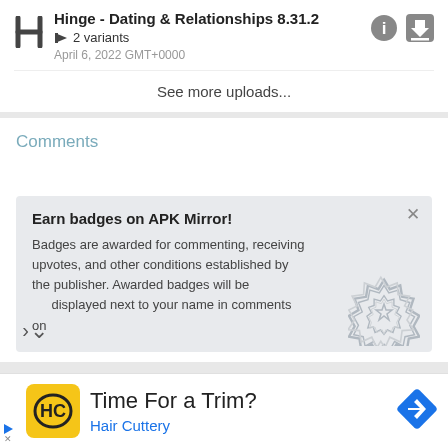Hinge - Dating & Relationships 8.31.2
2 variants
April 6, 2022 GMT+0000
See more uploads...
Comments
Earn badges on APK Mirror!
Badges are awarded for commenting, receiving upvotes, and other conditions established by the publisher. Awarded badges will be displayed next to your name in comments on
Time For a Trim?
Hair Cuttery